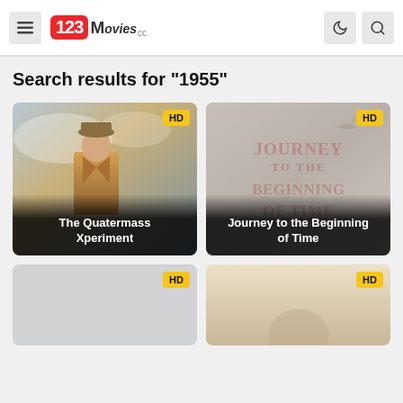[Figure (screenshot): 123Movies website header with hamburger menu, logo, dark mode and search icons]
Search results for "1955"
[Figure (screenshot): Movie card for 'The Quatermass Xperiment' with HD badge and movie poster image]
[Figure (screenshot): Movie card for 'Journey to the Beginning of Time' with HD badge and stylized title text poster]
[Figure (screenshot): Third movie card with HD badge, partially visible, gray background]
[Figure (screenshot): Fourth movie card with HD badge, partially visible, light warm background]